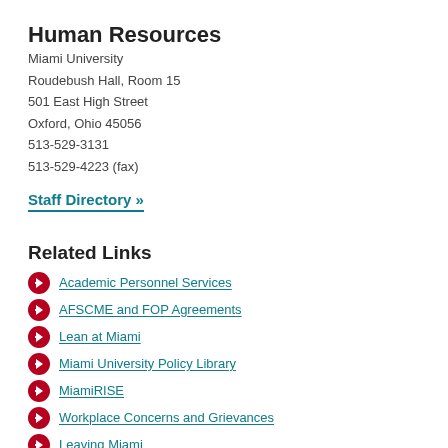Human Resources
Miami University
Roudebush Hall, Room 15
501 East High Street
Oxford, Ohio 45056
513-529-3131
513-529-4223 (fax)
Staff Directory »
Related Links
Academic Personnel Services
AFSCME and FOP Agreements
Lean at Miami
Miami University Policy Library
MiamiRISE
Workplace Concerns and Grievances
Leaving Miami